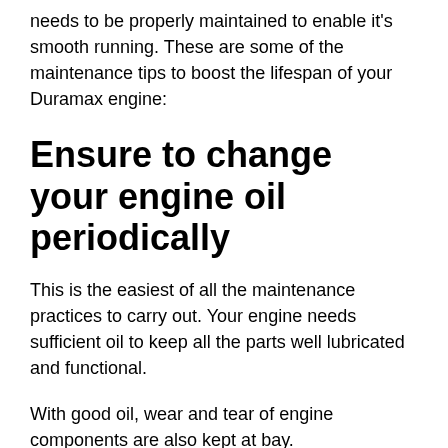needs to be properly maintained to enable it's smooth running. These are some of the maintenance tips to boost the lifespan of your Duramax engine:
Ensure to change your engine oil periodically
This is the easiest of all the maintenance practices to carry out. Your engine needs sufficient oil to keep all the parts well lubricated and functional.
With good oil, wear and tear of engine components are also kept at bay.
It also traps dust and other deposits and